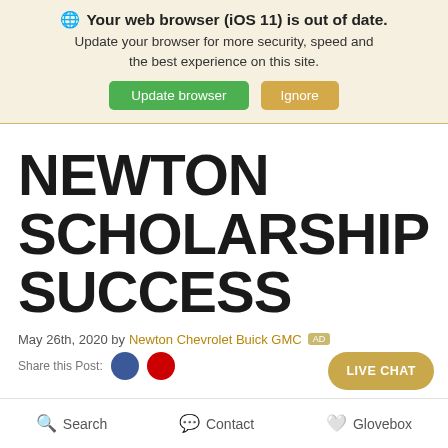Your web browser (iOS 11) is out of date. Update your browser for more security, speed and the best experience on this site. Update browser  Ignore
NEWTON SCHOLARSHIP SUCCESS
May 26th, 2020 by Newton Chevrolet Buick GMC
Share this Post:
Search  Contact  Glovebox